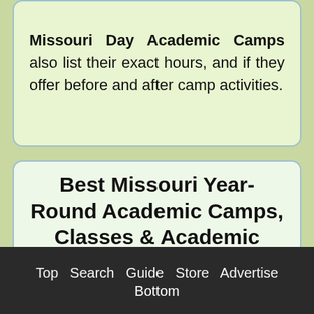Missouri Day Academic Camps also list their exact hours, and if they offer before and after camp activities.
Best Missouri Year-Round Academic Camps, Classes & Academic Programs
Many of our Best Missouri Summer Academic Camps also offer Year Round Academic Camp Programs, Classes, and Activities. You should contact the camps you are interested in to see if they
Top  Search  Guide  Store  Advertise
Bottom